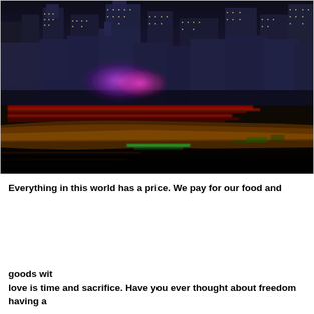[Figure (photo): Night cityscape of Singapore's Marina Bay skyline with illuminated skyscrapers in the background, purple/pink lighting on water features, a fast-moving boat with red light trails in the foreground on dark water.]
Everything in this world has a price. We pay for our food and goods with money, and the price of love is time and sacrifice. Have you ever thought about freedom having a
von Nur Diyanah Mohd Azmi
Tiny, modern Singapore. This economic powerhouse is known for mainly the chewing gum ban and Lee Kuan Yew. Lee Kuan Yew is the first Prime Minister of the country with an iron fist from 1965 to 1990. Lee Kuan Yew and his political Party (PAP), have brought stability to the country – both economically and